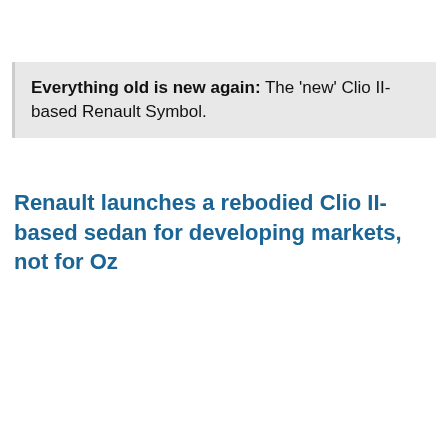Everything old is new again: The 'new' Clio II-based Renault Symbol.
Renault launches a rebodied Clio II-based sedan for developing markets, not for Oz